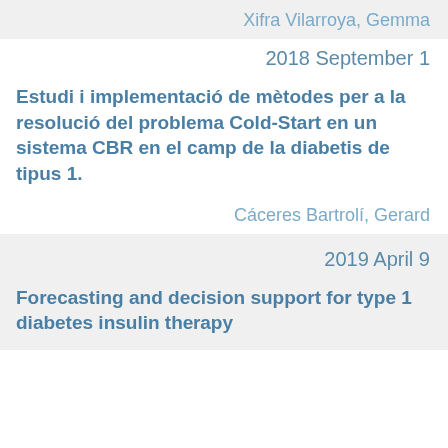Xifra Vilarroya, Gemma
2018 September 1
Estudi i implementació de mètodes per a la resolució del problema Cold-Start en un sistema CBR en el camp de la diabetis de tipus 1.
Cáceres Bartrolí, Gerard
2019 April 9
Forecasting and decision support for type 1 diabetes insulin therapy